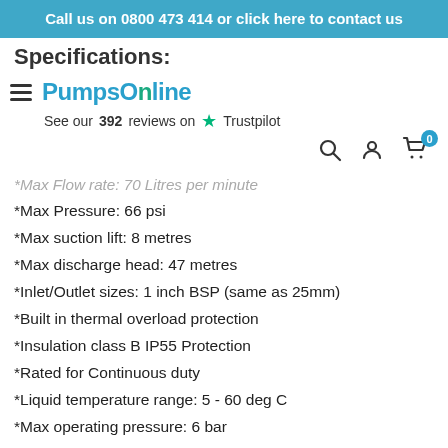Call us on 0800 473 414 or click here to contact us
Specifications:
Pumps Online
See our 392 reviews on Trustpilot
*Max Flow rate: 70 Litres per minute
*Max Pressure: 66 psi
*Max suction lift: 8 metres
*Max discharge head: 47 metres
*Inlet/Outlet sizes: 1 inch BSP (same as 25mm)
*Built in thermal overload protection
*Insulation class B IP55 Protection
*Rated for Continuous duty
*Liquid temperature range: 5 - 60 deg C
*Max operating pressure: 6 bar